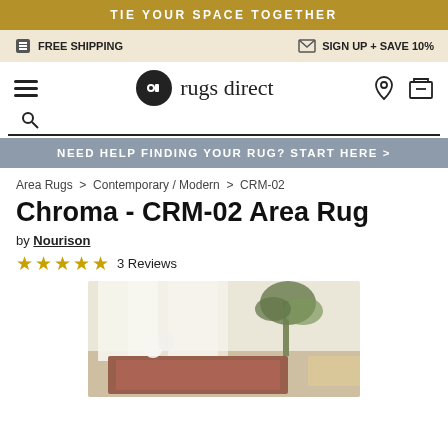TIE YOUR SPACE TOGETHER
FREE SHIPPING   SIGN UP + SAVE 10%
[Figure (logo): Rugs Direct logo with hamburger menu, search, account and cart icons]
NEED HELP FINDING YOUR RUG? START HERE >
Area Rugs > Contemporary / Modern > CRM-02
Chroma - CRM-02 Area Rug
by Nourison
★★★★★ 3 Reviews
[Figure (photo): Product lifestyle photo of area rug in a bright room with white curtains and palm plant]